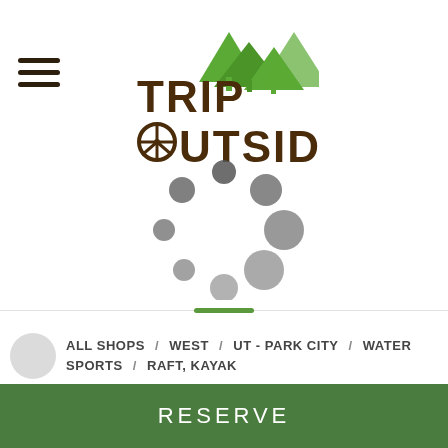[Figure (logo): Trip Outside outdoor adventure company logo with mountain/tree graphics and kayak paddle, brown and green colors]
[Figure (other): Loading spinner animation showing circular dots pattern in dark gray]
ALL SHOPS / WEST / UT - PARK CITY / WATER SPORTS / RAFT, KAYAK
RESERVE